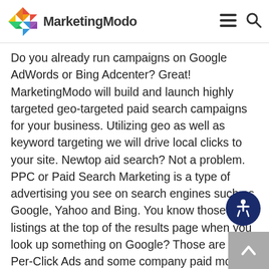MarketingModo
Do you already run campaigns on Google AdWords or Bing Adcenter? Great! MarketingModo will build and launch highly targeted geo-targeted paid search campaigns for your business. Utilizing geo as well as keyword targeting we will drive local clicks to your site. Newtop aid search? Not a problem. PPC or Paid Search Marketing is a type of advertising you see on search engines such as Google, Yahoo and Bing. You know those four listings at the top of the results page when you look up something on Google? Those are Pay-Per-Click Ads and some company paid money to show up in those results because they are at the top of the search engine results page and being at the top gives you alot of visibility. We will build our PPC campaigns for your local business targeting only your specific geographic area so if you have a Chiropractic Office in Wilkes-Barre, PA we will bring you traffic from Wilkes-Barre, Wyoming, Pittston, Exeter and not Oregon